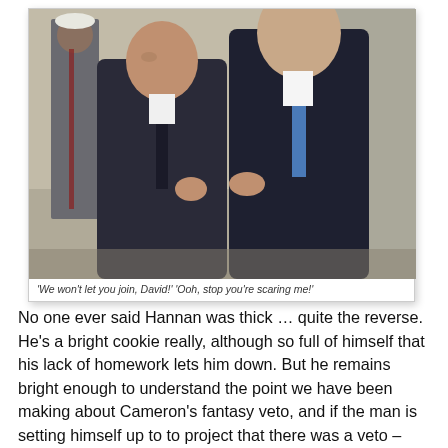[Figure (photo): Two men in dark suits conversing, shaking hands or gesturing at each other, with a uniformed guard visible in the background. The setting appears to be an official government building exterior.]
'We won't let you join, David!' 'Ooh, stop you're scaring me!'
No one ever said Hannan was thick … quite the reverse. He's a bright cookie really, although so full of himself that his lack of homework lets him down. But he remains bright enough to understand the point we have been making about Cameron's fantasy veto, and if the man is setting himself up to to project that there was a veto – which is precisely what he is doing - then he is playing games. That's what politics